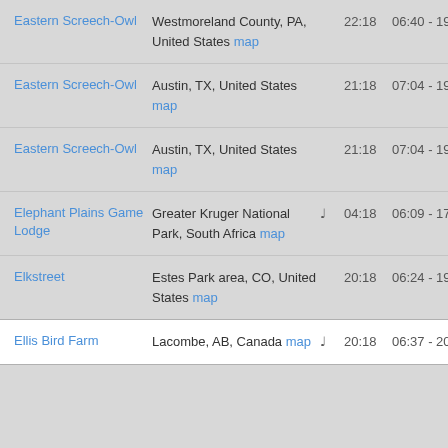| Name | Location |  | Time | Range |
| --- | --- | --- | --- | --- |
| Eastern Screech-Owl | Westmoreland County, PA, United States map |  | 22:18 | 06:40 - 19:57 |
| Eastern Screech-Owl | Austin, TX, United States map |  | 21:18 | 07:04 - 19:59 |
| Eastern Screech-Owl | Austin, TX, United States map |  | 21:18 | 07:04 - 19:59 |
| Elephant Plains Game Lodge | Greater Kruger National Park, South Africa map | ♪ | 04:18 | 06:09 - 17:41 |
| Elkstreet | Estes Park area, CO, United States map |  | 20:18 | 06:24 - 19:41 |
| Ellis Bird Farm | Lacombe, AB, Canada map | ♪ | 20:18 | 06:37 - 20:33 |